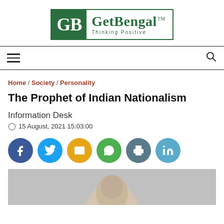[Figure (logo): GetBengal logo with green background GB initials and tagline 'Thinking Positive']
Home / Society / Personality
The Prophet of Indian Nationalism
Information Desk
15 August, 2021 15:03:00
[Figure (infographic): Social sharing buttons: Facebook, Twitter, Email, WhatsApp, Print, LinkedIn]
[Figure (photo): Partial photo of a person, mostly grey/monochrome, cropped at bottom of page]